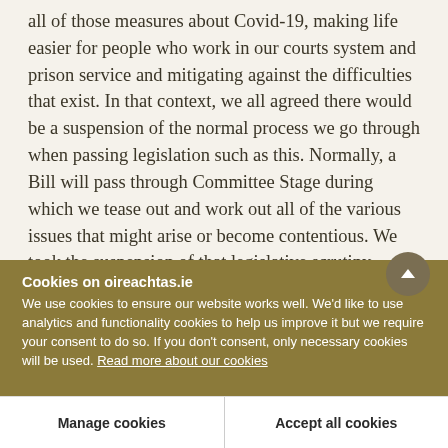all of those measures about Covid-19, making life easier for people who work in our courts system and prison service and mitigating against the difficulties that exist. In that context, we all agreed there would be a suspension of the normal process we go through when passing legislation such as this. Normally, a Bill will pass through Committee Stage during which we tease out and work out all of the various issues that might arise or become contentious. We took the suspension of that legislative scrutiny seriously. We asked the
Cookies on oireachtas.ie
We use cookies to ensure our website works well. We'd like to use analytics and functionality cookies to help us improve it but we require your consent to do so. If you don't consent, only necessary cookies will be used. Read more about our cookies
Manage cookies
Accept all cookies